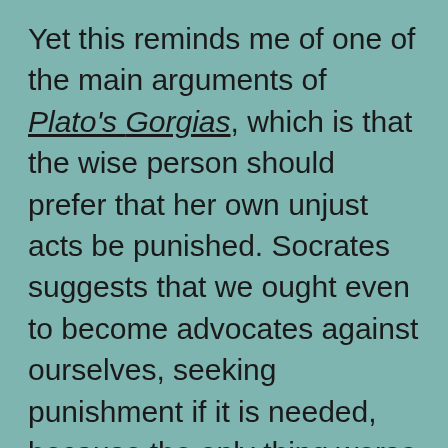Yet this reminds me of one of the main arguments of Plato's Gorgias, which is that the wise person should prefer that her own unjust acts be punished. Socrates suggests that we ought even to become advocates against ourselves, seeking punishment if it is needed, because the only thing worse than acting unjustly is to act unjustly and also to avoid punishment. To go unpunished is to be left to stew in one's injustice, and perhaps to exacerbate that tendency in onself. I find Socrates more compelling here than Dr. J, but perhaps he is wrong. It's a difficult issue